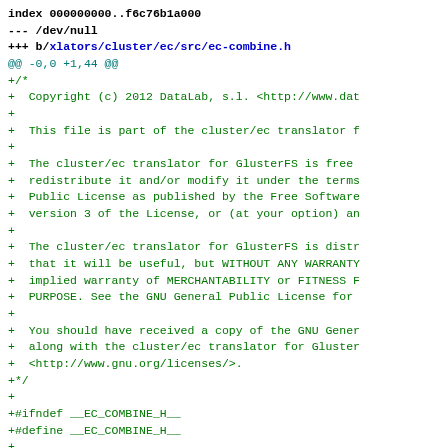index 000000000..f6c76b1a000
--- /dev/null
+++ b/xlators/cluster/ec/src/ec-combine.h
@@ -0,0 +1,44 @@
+/*
+  Copyright (c) 2012 DataLab, s.l. <http://www.dat
++
+  This file is part of the cluster/ec translator f
++
+  The cluster/ec translator for GlusterFS is free
+  redistribute it and/or modify it under the terms
+  Public License as published by the Free Software
+  version 3 of the License, or (at your option) an
++
+  The cluster/ec translator for GlusterFS is distr
+  that it will be useful, but WITHOUT ANY WARRANTY
+  implied warranty of MERCHANTABILITY or FITNESS F
+  PURPOSE. See the GNU General Public License for
++
+  You should have received a copy of the GNU Gener
+  along with the cluster/ec translator for Gluster
+  <http://www.gnu.org/licenses/>.
+*/
++
+#ifndef __EC_COMBINE_H__
+#define __EC_COMBINE_H__
++
+#define EC_COMBINE_DICT  0
+#define EC_COMBINE_XDATA 1
++
++typedef int32_t (* ec_combine_f)(ec_fop_data_t*